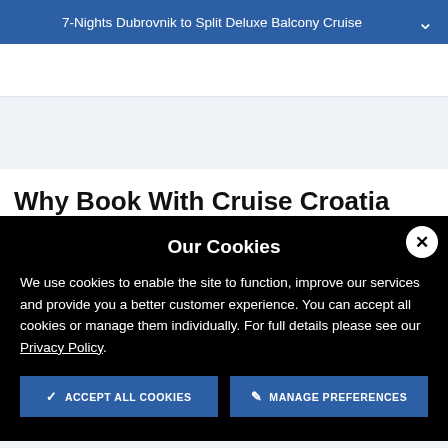7-Nights Dubrovnik to Split Deluxe Balcony Cruise
Why Book With Cruise Croatia
Our Cookies
We use cookies to enable the site to function, improve our services and provide you a better customer experience. You can accept all cookies or manage them individually. For full details please see our Privacy Policy.
ACCEPT ALL COOKIES
MANAGE PREFERENCES